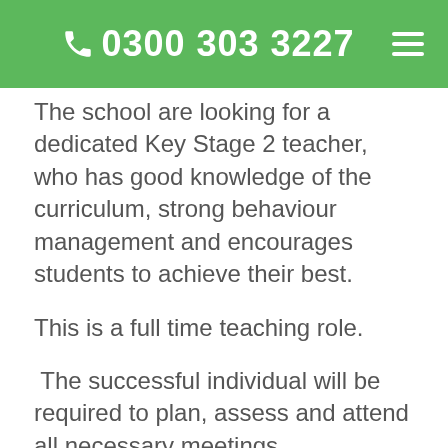0300 303 3227
The school are looking for a dedicated Key Stage 2 teacher, who has good knowledge of the curriculum, strong behaviour management and encourages students to achieve their best.
This is a full time teaching role.
The successful individual will be required to plan, assess and attend all necessary meetings.
To apply to this Key Stage 2 Teacher role, you will need the following: